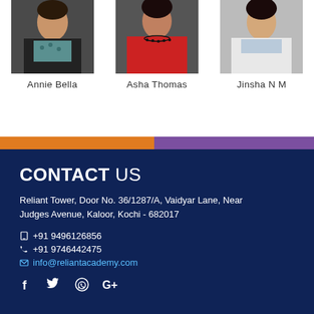[Figure (photo): Photo of Annie Bella]
Annie Bella
[Figure (photo): Photo of Asha Thomas]
Asha Thomas
[Figure (photo): Photo of Jinsha N M]
Jinsha N M
CONTACT US
Reliant Tower, Door No. 36/1287/A, Vaidyar Lane, Near Judges Avenue, Kaloor, Kochi - 682017
+91 9496126856
+91 9746442475
info@reliantacademy.com
[Figure (infographic): Social media icons: Facebook, Twitter, WhatsApp, Google+]